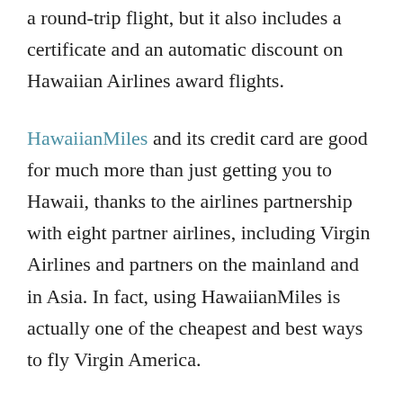a round-trip flight, but it also includes a certificate and an automatic discount on Hawaiian Airlines award flights.
HawaiianMiles and its credit card are good for much more than just getting you to Hawaii, thanks to the airlines partnership with eight partner airlines, including Virgin Airlines and partners on the mainland and in Asia. In fact, using HawaiianMiles is actually one of the cheapest and best ways to fly Virgin America.
The Hawaiian Airlines World Elite MasterCard was long issued by Bank of America, but is currently